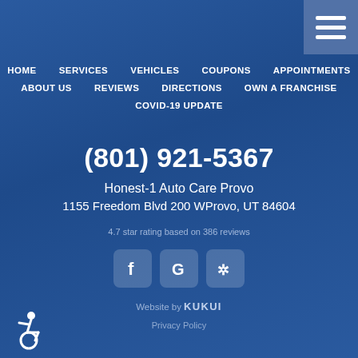HOME | SERVICES | VEHICLES | COUPONS | APPOINTMENTS | ABOUT US | REVIEWS | DIRECTIONS | OWN A FRANCHISE | COVID-19 UPDATE
(801) 921-5367
Honest-1 Auto Care Provo
1155 Freedom Blvd 200 WProvo, UT 84604
4.7 star rating based on 386 reviews
[Figure (logo): Facebook, Google, and Yelp social media icon buttons]
Website by KUKUI
Privacy Policy
[Figure (illustration): Wheelchair accessibility icon in bottom-left corner]